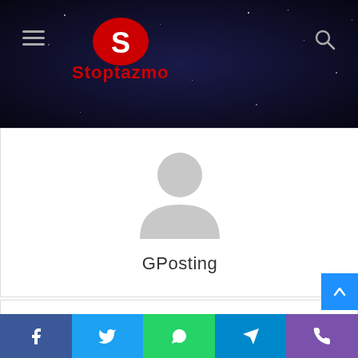Stoptazmo
[Figure (illustration): Generic user avatar/profile silhouette icon in gray]
GPosting
[Figure (illustration): Gray envelope/mail icon]
With Product You Purchase
Subscribe to our mailing list to ge
[Figure (infographic): Social share bar with Facebook, Twitter, WhatsApp, Telegram, Phone icons]